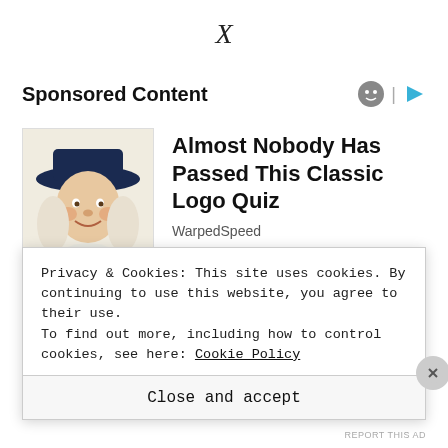X
Sponsored Content
[Figure (illustration): Illustrated portrait of a colonial-era figure (Quaker Oats man style) wearing a wide-brimmed dark hat and white collar, smiling]
Almost Nobody Has Passed This Classic Logo Quiz
WarpedSpeed
[Figure (illustration): Partial second ad image with colorful gradient background, partially visible]
Privacy & Cookies: This site uses cookies. By continuing to use this website, you agree to their use.
To find out more, including how to control cookies, see here: Cookie Policy
Close and accept